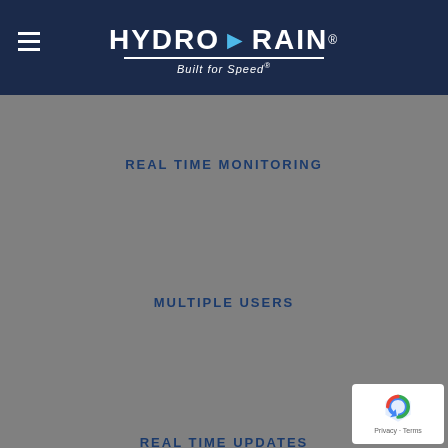HYDRO·RAIN® Built for Speed®
REAL TIME MONITORING
MULTIPLE USERS
REAL TIME UPDATES